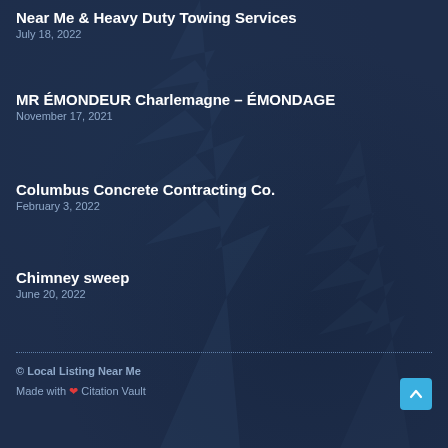Near Me & Heavy Duty Towing Services
July 18, 2022
MR ÉMONDEUR Charlemagne – ÉMONDAGE
November 17, 2021
Columbus Concrete Contracting Co.
February 3, 2022
Chimney sweep
June 20, 2022
© Local Listing Near Me
Made with ❤ Citation Vault